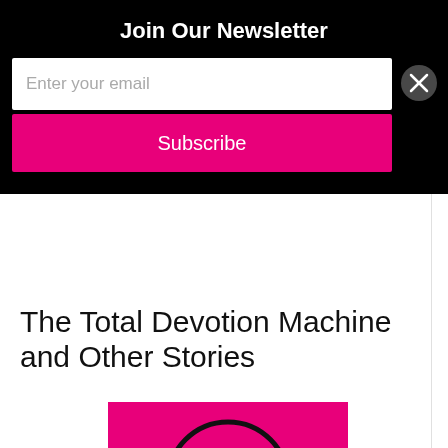Join Our Newsletter
Enter your email
Subscribe
The Total Devotion Machine and Other Stories
[Figure (illustration): Pink book cover with a circular black arc design, partially visible at bottom of page]